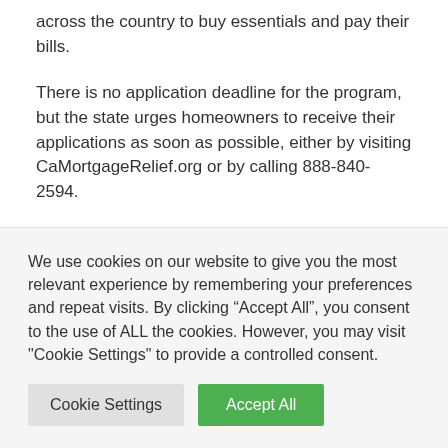across the country to buy essentials and pay their bills.
There is no application deadline for the program, but the state urges homeowners to receive their applications as soon as possible, either by visiting CaMortgageRelief.org or by calling 888-840-2594.
The $1 billion mortgage relief program, launched Dec. 27, has donated more than $68 million to more
We use cookies on our website to give you the most relevant experience by remembering your preferences and repeat visits. By clicking “Accept All”, you consent to the use of ALL the cookies. However, you may visit "Cookie Settings" to provide a controlled consent.